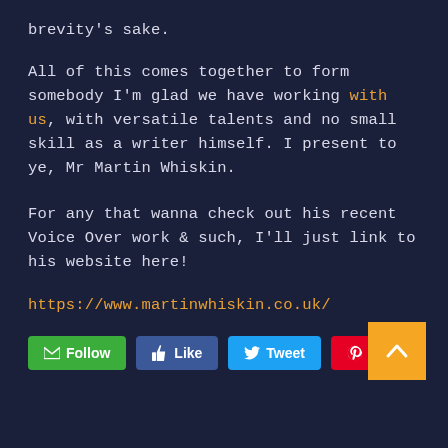brevity's sake.
All of this comes together to form somebody I'm glad we have working with us, with versatile talents and no small skill as a writer himself. I present to ye, Mr Martin Whiskin.
For any that wanna check out his recent Voice Over work & such, I'll just link to his website here!
https://www.martinwhiskin.co.uk/
[Figure (other): Social sharing buttons: Follow (green), Like (blue/Facebook), Tweet (blue/Twitter), Save (red/Pinterest); plus an orange scroll-to-top arrow button in bottom right]